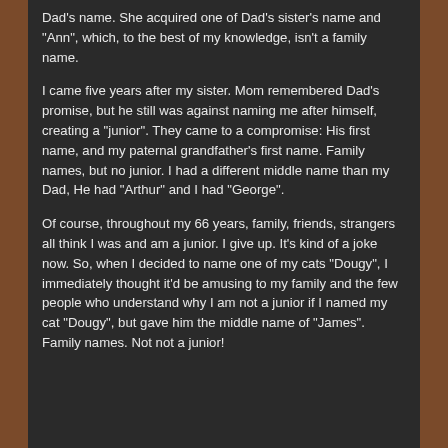Dad's name. She acquired one of Dad's sister's name and "Ann", which, to the best of my knowledge, isn't a family name.
I came five years after my sister. Mom remembered Dad's promise, but he still was against naming me after himself, creating a "junior". They came to a compromise: His first name, and my paternal grandfather's first name. Family names, but no junior. I had a different middle name than my Dad, He had "Arthur" and I had "George".
Of course, throughout my 66 years, family, friends, strangers all think I was and am a junior. I give up. It's kind of a joke now. So, when I decided to name one of my cats "Dougy", I immediately thought it'd be amusing to my family and the few people who understand why I am not a junior if I named my cat "Dougy", but gave him the middle name of "James". Family names. Not not a junior!